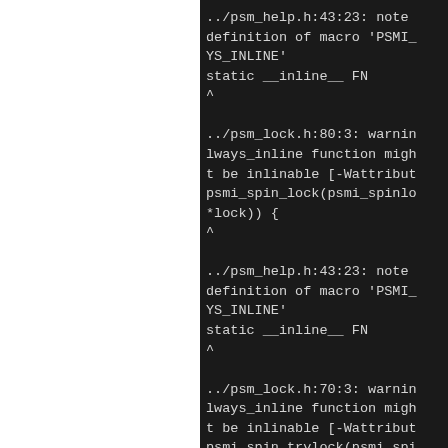[Figure (screenshot): Terminal/compiler output on dark background showing compiler warnings and notes about always_inline functions and macro definitions in psm_help.h and psm_lock.h]
../psm_help.h:43:23: note definition of macro 'PSMI_SYS_INLINE'
static __inline__ FN
^
../psm_lock.h:80:3: warning: always_inline function might not be inlinable [-Wattributes]
psmi_spin_lock(psmi_spinlock_t *lock)) {
^
../psm_help.h:43:23: note definition of macro 'PSMI_SYS_INLINE'
static __inline__ FN
^
../psm_lock.h:70:3: warning: always_inline function might not be inlinable [-Wattributes]
psmi_spin_trylock(psmi_spinlock_t *lock)) {
^
../psm_help.h:43:23: note